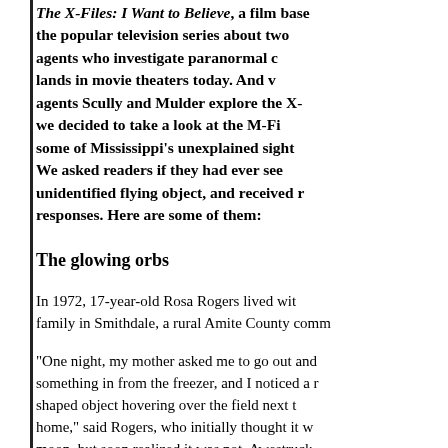The X-Files: I Want to Believe, a film based on the popular television series about two agents who investigate paranormal cases, lands in movie theaters today. And while agents Scully and Mulder explore the X-Files, we decided to take a look at the M-Files — some of Mississippi's unexplained sightings. We asked readers if they had ever seen an unidentified flying object, and received many responses. Here are some of them:
The glowing orbs
In 1972, 17-year-old Rosa Rogers lived with her family in Smithdale, a rural Amite County community.
"One night, my mother asked me to go out and get something in from the freezer, and I noticed a round-shaped object hovering over the field next to our home," said Rogers, who initially thought it was the moon, but soon realized it was not. Awestruck, she retrieved her parents.